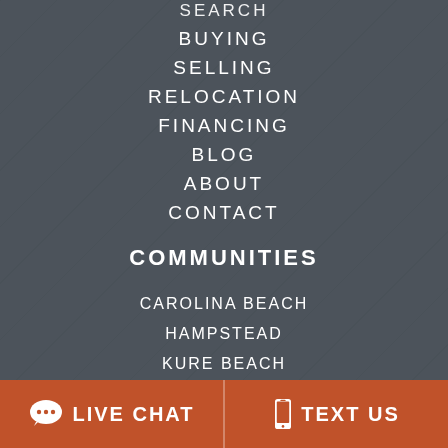SEARCH
BUYING
SELLING
RELOCATION
FINANCING
BLOG
ABOUT
CONTACT
COMMUNITIES
CAROLINA BEACH
HAMPSTEAD
KURE BEACH
LELAND
LIVE CHAT   TEXT US